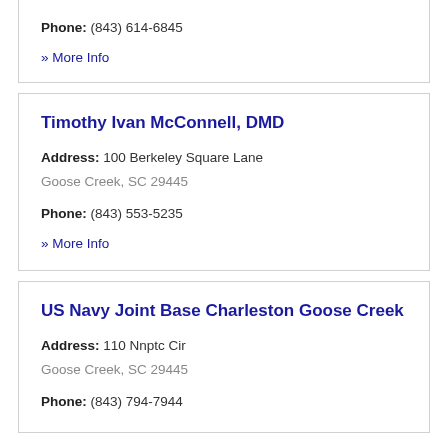Phone: (843) 614-6845
» More Info
Timothy Ivan McConnell, DMD
Address: 100 Berkeley Square Lane Goose Creek, SC 29445
Phone: (843) 553-5235
» More Info
US Navy Joint Base Charleston Goose Creek
Address: 110 Nnptc Cir Goose Creek, SC 29445
Phone: (843) 794-7944